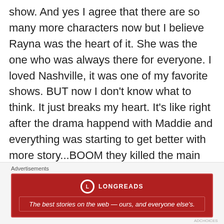show. And yes I agree that there are so many more characters now but I believe Rayna was the heart of it. She was the one who was always there for everyone. I loved Nashville, it was one of my favorite shows. BUT now I don't know what to think. It just breaks my heart. It's like right after the drama happend with Maddie and everything was starting to get better with more story...BOOM they killed the main character. WHYYYYY CMT???! Why Connie and why writes?!!!! I honestly don't think that
Advertisements
[Figure (other): Longreads advertisement banner in dark red with logo and tagline: The best stories on the web — ours, and everyone else's.]